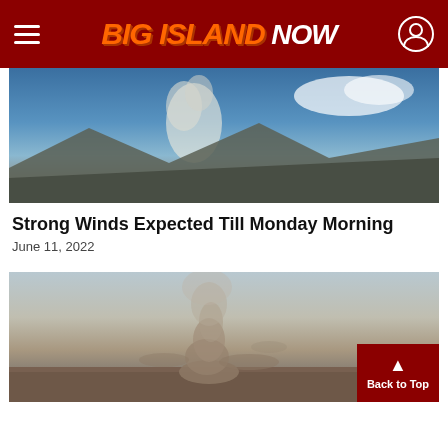BIG ISLAND NOW
[Figure (photo): Outdoor landscape with blue sky, white clouds and smoke plume rising from distant mountain or volcanic terrain.]
Strong Winds Expected Till Monday Morning
June 11, 2022
[Figure (photo): Dust devil or small tornado/whirlwind spinning over dry grassy terrain with brown and tan colors.]